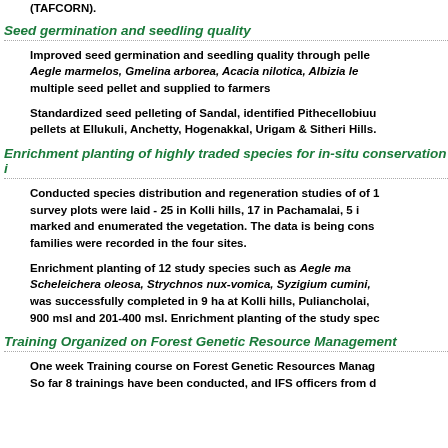(TAFCORN).
Seed germination and seedling quality
Improved seed germination and seedling quality through pelleting of Aegle marmelos, Gmelina arborea, Acacia nilotica, Albizia le... multiple seed pellet and supplied to farmers
Standardized seed pelleting of Sandal, identified Pithecellobiuu... pellets at Ellukuli, Anchetty, Hogenakkal, Urigam & Sitheri Hills.
Enrichment planting of highly traded species for in-situ conservation i...
Conducted species distribution and regeneration studies of of 1... survey plots were laid - 25 in Kolli hills, 17 in Pachamalai, 5 i... marked and enumerated the vegetation. The data is being cons... families were recorded in the four sites.
Enrichment planting of 12 study species such as Aegle ma... Scheleichera oleosa, Strychnos nux-vomica, Syzigium cumini, ... was successfully completed in 9 ha at Kolli hills, Puliancholai, ... 900 msl and 201-400 msl. Enrichment planting of the study spec...
Training Organized on Forest Genetic Resource Management
One week Training course on Forest Genetic Resources Manag... So far 8 trainings have been conducted, and IFS officers from d...